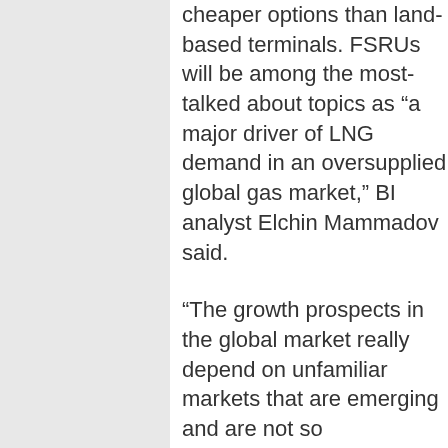cheaper options than land-based terminals. FSRUs will be among the most-talked about topics as “a major driver of LNG demand in an oversupplied global gas market,” BI analyst Elchin Mammadov said.
“The growth prospects in the global market really depend on unfamiliar markets that are emerging and are not so transparent,” Allen said. “I would expect a lot of discussion about those. One